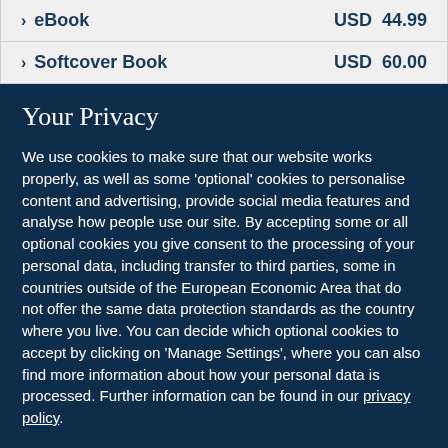| eBook | USD  44.99 |
| Softcover Book | USD  60.00 |
Your Privacy
We use cookies to make sure that our website works properly, as well as some 'optional' cookies to personalise content and advertising, provide social media features and analyse how people use our site. By accepting some or all optional cookies you give consent to the processing of your personal data, including transfer to third parties, some in countries outside of the European Economic Area that do not offer the same data protection standards as the country where you live. You can decide which optional cookies to accept by clicking on 'Manage Settings', where you can also find more information about how your personal data is processed. Further information can be found in our privacy policy.
Accept all cookies
Manage preferences